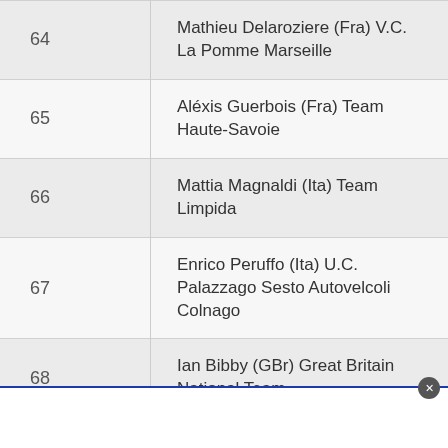| Number | Rider |
| --- | --- |
| 64 | Mathieu Delaroziere (Fra) V.C. La Pomme Marseille |
| 65 | Aléxis Guerbois (Fra) Team Haute-Savoie |
| 66 | Mattia Magnaldi (Ita) Team Limpida |
| 67 | Enrico Peruffo (Ita) U.C. Palazzago Sesto Autovelcoli Colnago |
| 68 | Ian Bibby (GBr) Great Britain National Team |
| 69 | Morgan Kneisky (Fra) Chambéry Cyclisme Formation |
| 70 | Thomas Girard (Fra) Chambéry Cyclisme Formation |